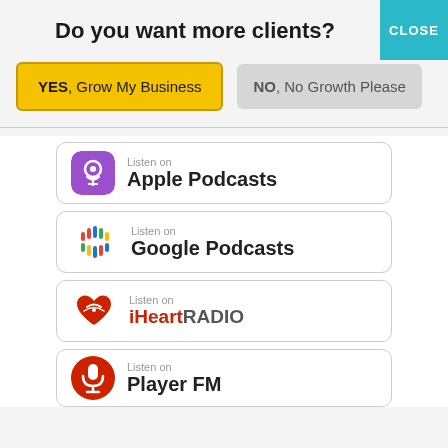Do you want more clients?
YES, Grow My Business
NO, No Growth Please
[Figure (logo): Listen on Apple Podcasts badge with purple podcast icon]
[Figure (logo): Listen on Google Podcasts badge with colorful google podcasts icon]
[Figure (logo): Listen on iHeartRADIO badge with red heart icon]
[Figure (logo): Listen on Player FM badge with red microphone icon]